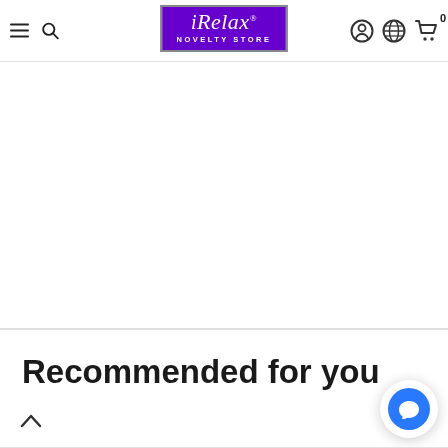iRelax Novelty Store — navigation header with hamburger menu, search, logo, account, language, and cart icons
[Figure (logo): iRelax Novelty Store logo — purple rectangle with italic white script 'iRelax' and white text 'NOVELTY STORE' below]
Recommended for you